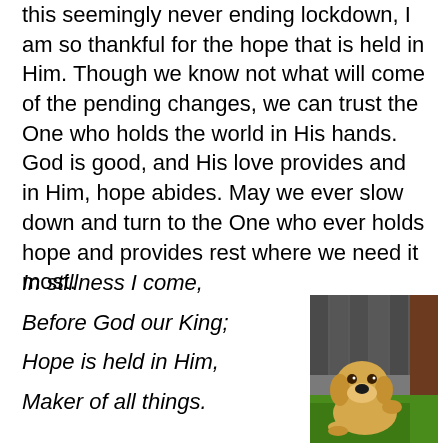this seemingly never ending lockdown, I am so thankful for the hope that is held in Him. Though we know not what will come of the pending changes, we can trust the One who holds the world in His hands. God is good, and His love provides and in Him, hope abides. May we ever slow down and turn to the One who ever holds hope and provides rest where we need it most.
In stillness I come,
Before God our King;
Hope is held in Him,
Maker of all things.
[Figure (photo): A yellow Labrador puppy sitting on green grass in front of a wooden fence, looking at the camera.]